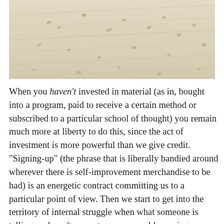[Figure (photo): Close-up photograph of sandy surface with small footprints or marks scattered across rippled sand texture]
When you haven't invested in material (as in, bought into a program, paid to receive a certain method or subscribed to a particular school of thought) you remain much more at liberty to do this, since the act of investment is more powerful than we give credit. “Signing-up” (the phrase that is liberally bandied around wherever there is self-improvement merchandise to be had) is an energetic contract committing us to a particular point of view. Then we start to get into the territory of internal struggle when what someone is telling us doesn’t resonate or, you could say, ring our truth bell, yet (because we signed-up or paid money) we still make ourselves hear it out, give it lip